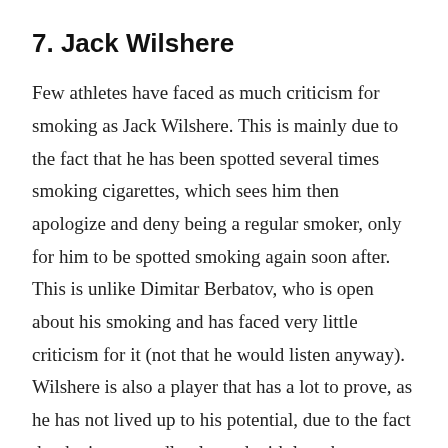7. Jack Wilshere
Few athletes have faced as much criticism for smoking as Jack Wilshere. This is mainly due to the fact that he has been spotted several times smoking cigarettes, which sees him then apologize and deny being a regular smoker, only for him to be spotted smoking again soon after. This is unlike Dimitar Berbatov, who is open about his smoking and has faced very little criticism for it (not that he would listen anyway). Wilshere is also a player that has a lot to prove, as he has not lived up to his potential, due to the fact that he is repeatedly plagued with lengthy injuries. The Arsenal midfielder picked up (another) ankle injury over the summer and is ruled out till mid-September. Once he returns, he will be desperate to